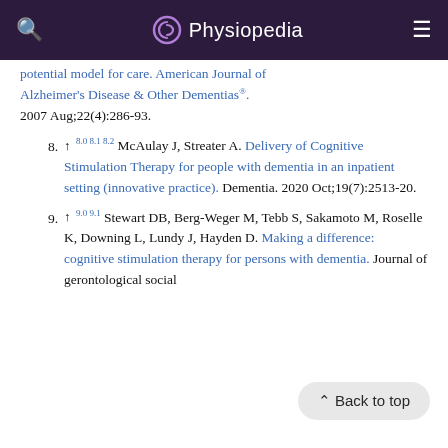Physiopedia
potential model for care. American Journal of Alzheimer's Disease & Other Dementias®. 2007 Aug;22(4):286-93.
8. ↑ 8.0 8.1 8.2 McAulay J, Streater A. Delivery of Cognitive Stimulation Therapy for people with dementia in an inpatient setting (innovative practice). Dementia. 2020 Oct;19(7):2513-20.
9. ↑ 9.0 9.1 Stewart DB, Berg-Weger M, Tebb S, Sakamoto M, Roselle K, Downing L, Lundy J, Hayden D. Making a difference: cognitive stimulation therapy for persons with dementia. Journal of gerontological social